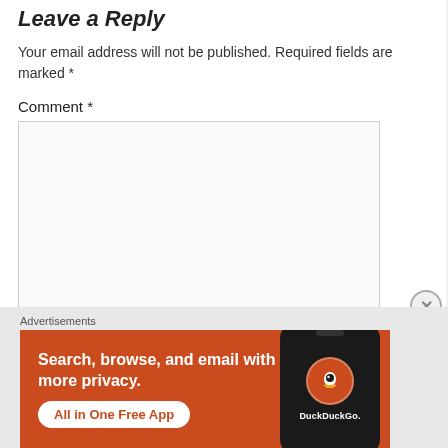Leave a Reply
Your email address will not be published. Required fields are marked *
Comment *
[Figure (screenshot): Empty comment text area input box with resize handle]
Name *
Advertisements
[Figure (infographic): DuckDuckGo advertisement banner with orange background. Text: Search, browse, and email with more privacy. All in One Free App. Shows a dark smartphone with DuckDuckGo logo.]